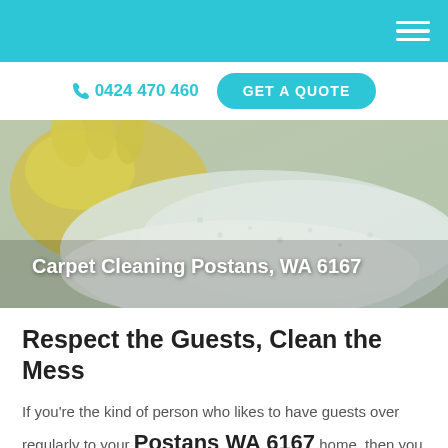Navigation header with hamburger menu
☏ 0424 470 460  GET A QUOTE
[Figure (photo): Close-up photo of yellow rubber gloves cleaning a carpet or fabric surface with a white cloth, with a title overlay reading 'Carpet Cleaning Postans, WA 6167']
Carpet Cleaning Postans, WA 6167
Respect the Guests, Clean the Mess
If you're the kind of person who likes to have guests over regularly to your Postans WA 6167 home, then you are also the kind of person who needs to make sure that your home is clean and well maintained. A very important part of